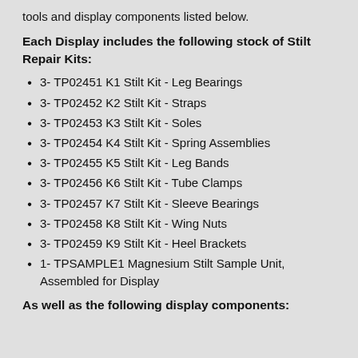tools and display components listed below.
Each Display includes the following stock of Stilt Repair Kits:
3- TP02451 K1 Stilt Kit - Leg Bearings
3- TP02452 K2 Stilt Kit - Straps
3- TP02453 K3 Stilt Kit - Soles
3- TP02454 K4 Stilt Kit - Spring Assemblies
3- TP02455 K5 Stilt Kit - Leg Bands
3- TP02456 K6 Stilt Kit - Tube Clamps
3- TP02457 K7 Stilt Kit - Sleeve Bearings
3- TP02458 K8 Stilt Kit - Wing Nuts
3- TP02459 K9 Stilt Kit - Heel Brackets
1- TPSAMPLE1 Magnesium Stilt Sample Unit, Assembled for Display
As well as the following display components: